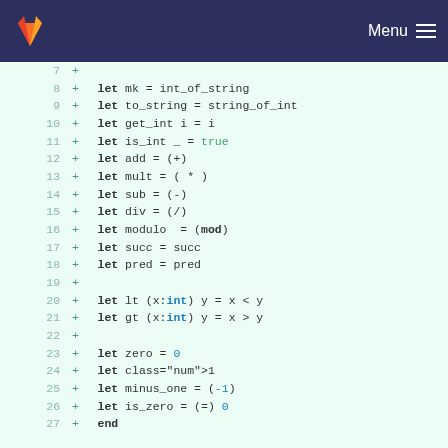[Figure (screenshot): GitLab navigation bar with logo and Menu button]
Code diff view showing OCaml source code lines 7-27 with additions marked by + signs. Lines include let bindings for mk, to_string, get_int, is_int, add, mult, sub, div, modulo, succ, pred, lt, gt, zero, one, minus_one, is_zero, and end.